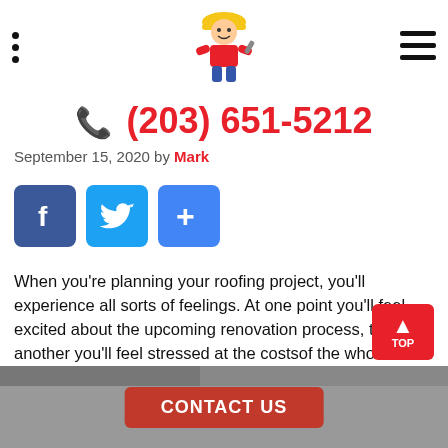Navigation header with logo, dots menu, and hamburger menu
☎ (203) 651-5212
September 15, 2020 by Mark
[Figure (infographic): Social share buttons: Facebook (blue), Twitter (light blue), and a share/plus button (blue)]
When you’re planning your roofing project, you’ll experience all sorts of feelings. At one point you’ll feel excited about the upcoming renovation process, then at another you’ll feel stressed at the costsof the whole project. One way to relieve your stress is by tracking everything related to your project on a project notebook. It may actually feel therapeutic when you write down notes or sketch some designs, and you’ll be able to keep receipts as well, which can be very helpful later during the renovation process.
[Figure (photo): Bottom image showing roofing work, partially visible. Red CONTACT US button overlaid on top.]